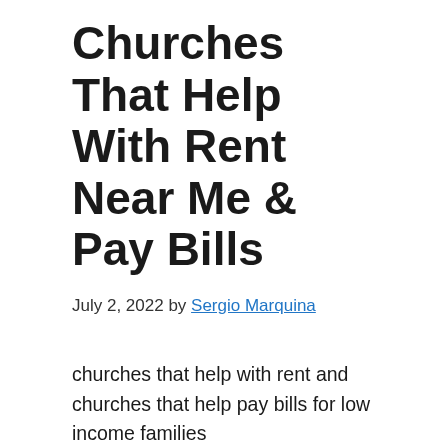Churches That Help With Rent Near Me & Pay Bills
July 2, 2022 by Sergio Marquina
churches that help with rent and churches that help pay bills for low income families